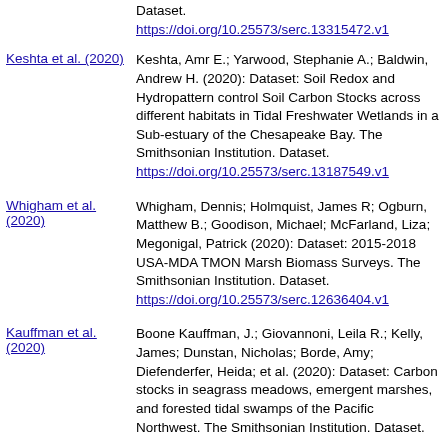Dataset. https://doi.org/10.25573/serc.13315472.v1
Keshta et al. (2020) — Keshta, Amr E.; Yarwood, Stephanie A.; Baldwin, Andrew H. (2020): Dataset: Soil Redox and Hydropattern control Soil Carbon Stocks across different habitats in Tidal Freshwater Wetlands in a Sub-estuary of the Chesapeake Bay. The Smithsonian Institution. Dataset. https://doi.org/10.25573/serc.13187549.v1
Whigham et al. (2020) — Whigham, Dennis; Holmquist, James R; Ogburn, Matthew B.; Goodison, Michael; McFarland, Liza; Megonigal, Patrick (2020): Dataset: 2015-2018 USA-MDA TMON Marsh Biomass Surveys. The Smithsonian Institution. Dataset. https://doi.org/10.25573/serc.12636404.v1
Kauffman et al. (2020) — Boone Kauffman, J.; Giovannoni, Leila R.; Kelly, James; Dunstan, Nicholas; Borde, Amy; Diefenderfer, Heida; et al. (2020): Dataset: Carbon stocks in seagrass meadows, emergent marshes, and forested tidal swamps of the Pacific Northwest. The Smithsonian Institution. Dataset.